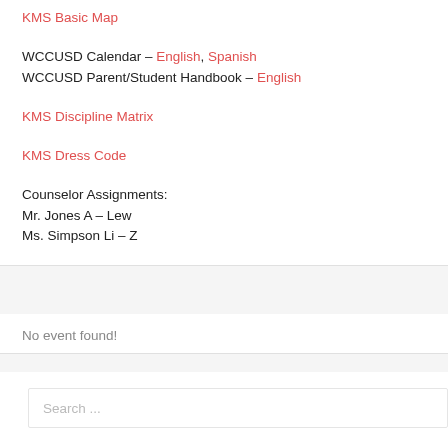KMS Basic Map
WCCUSD Calendar – English, Spanish
WCCUSD Parent/Student Handbook – English
KMS Discipline Matrix
KMS Dress Code
Counselor Assignments:
Mr. Jones A – Lew
Ms. Simpson Li – Z
No event found!
Search ...